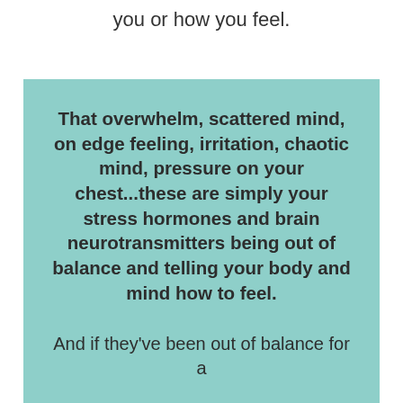you or how you feel.
That overwhelm, scattered mind, on edge feeling, irritation, chaotic mind, pressure on your chest...these are simply your stress hormones and brain neurotransmitters being out of balance and telling your body and mind how to feel.
And if they've been out of balance for a